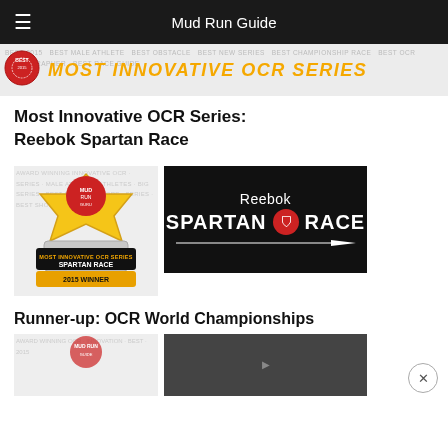Mud Run Guide
[Figure (infographic): Banner image: Best of 2015, Most Innovative OCR Series, yellow/orange text on watermarked background]
Most Innovative OCR Series:
Reebok Spartan Race
[Figure (illustration): Award badge: Mud Run Guru Most Innovative OCR Series Spartan Race 2015 Winner]
[Figure (logo): Reebok Spartan Race logo on black background]
Runner-up: OCR World Championships
[Figure (illustration): Partially visible award badge at bottom]
[Figure (illustration): Partially visible Spartan Race image at bottom]